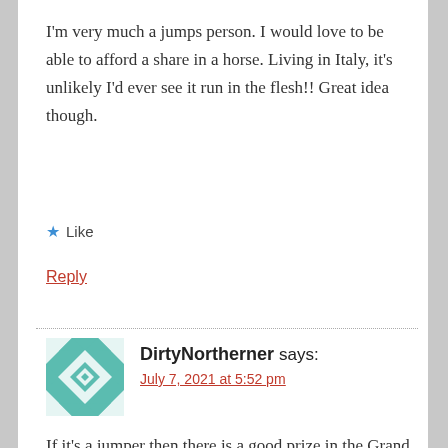I'm very much a jumps person. I would love to be able to afford a share in a horse. Living in Italy, it's unlikely I'd ever see it run in the flesh!! Great idea though.
★ Like
Reply
DirtyNortherner says:
July 7, 2021 at 5:52 pm
If it's a jumper then there is a good prize in the Grand Premio di Merano. Some UK stables have entered in the past.